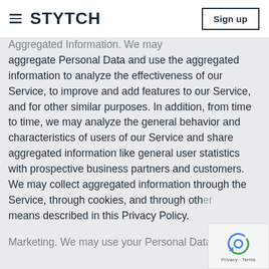STYTCH | Sign up
Aggregated Information. We may aggregate Personal Data and use the aggregated information to analyze the effectiveness of our Service, to improve and add features to our Service, and for other similar purposes. In addition, from time to time, we may analyze the general behavior and characteristics of users of our Service and share aggregated information like general user statistics with prospective business partners and customers. We may collect aggregated information through the Service, through cookies, and through other means described in this Privacy Policy.
Marketing. We may use your Personal Data